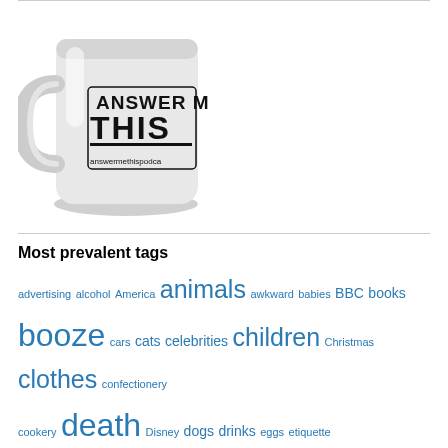[Figure (photo): A white coffee mug with 'ANSWER ME THIS' printed on it in bold collegiate lettering, with 'answermethispodcast' at the bottom]
Most prevalent tags
advertising alcohol America animals awkward babies BBC books booze cars cats celebrities children Christmas clothes confectionery cookery death Disney dogs drinks eggs etiquette etymology
food